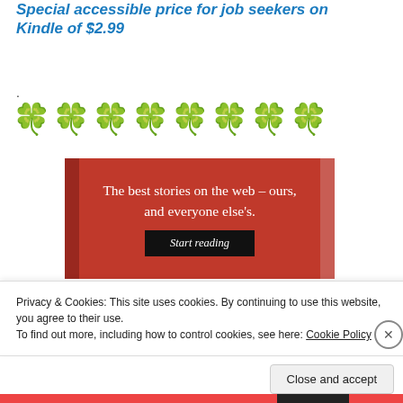Special accessible price for job seekers on Kindle of $2.99
.
[Figure (illustration): Eight green four-leaf clover emoji in a row]
[Figure (screenshot): Red advertisement banner reading 'The best stories on the web – ours, and everyone else's.' with a black 'Start reading' button]
Privacy & Cookies: This site uses cookies. By continuing to use this website, you agree to their use.
To find out more, including how to control cookies, see here: Cookie Policy
Close and accept